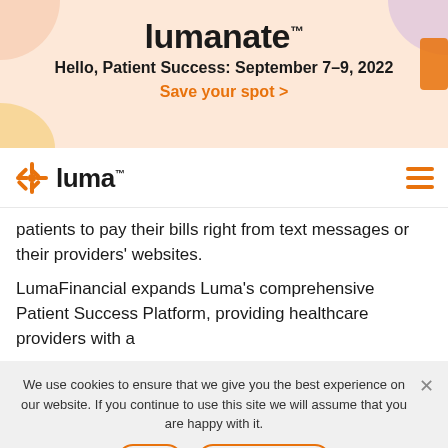[Figure (screenshot): Lumanate conference banner with decorative shapes. Title reads 'lumanate'. Subtitle: 'Hello, Patient Success: September 7–9, 2022'. Orange link: 'Save your spot >']
[Figure (logo): Luma Health logo with orange asterisk/star icon and 'luma' wordmark in black, with hamburger menu icon in orange on the right.]
patients to pay their bills right from text messages or their providers' websites.
LumaFinancial expands Luma's comprehensive Patient Success Platform, providing healthcare providers with a
We use cookies to ensure that we give you the best experience on our website. If you continue to use this site we will assume that you are happy with it.
Ok  Privacy policy